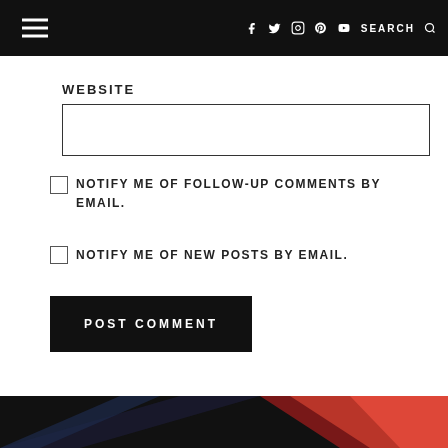≡  f  t  instagram  pinterest  youtube  SEARCH
WEBSITE
☐ NOTIFY ME OF FOLLOW-UP COMMENTS BY EMAIL.
☐ NOTIFY ME OF NEW POSTS BY EMAIL.
POST COMMENT
[Figure (photo): Bottom decorative image strip with dark background and red diagonal streaks]